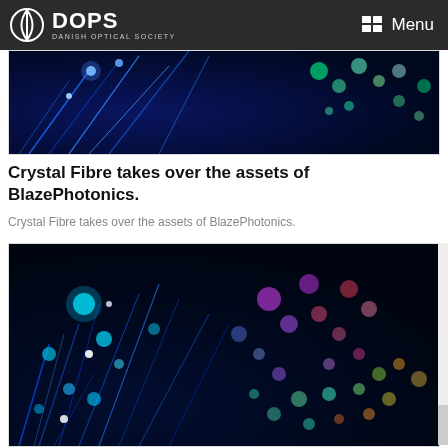DOPS DANISH OPTICAL SOCIETY | Menu
[Figure (photo): Close-up of fiber optic strands glowing blue with colorful bokeh light spots on dark background, top portion visible (cropped)]
Crystal Fibre takes over the assets of BlazePhotonics.
Crystal Fibre takes over the assets of BlazePhotonics.
[Figure (photo): Close-up of fiber optic strands with colorful glowing bokeh dots — cyan, magenta, green, yellow, orange on dark background]